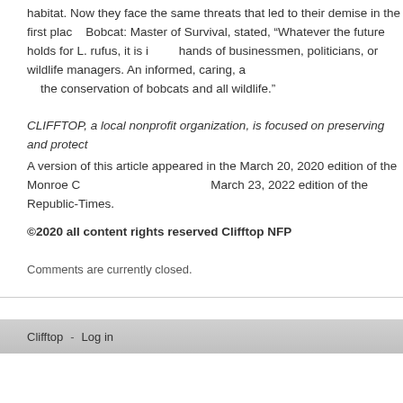habitat. Now they face the same threats that led to their demise in the first place. Bobcat: Master of Survival, stated, “Whatever the future holds for L. rufus, it is in the hands of businessmen, politicians, or wildlife managers. An informed, caring, and involved public is the key to the conservation of bobcats and all wildlife.”
CLIFFTOP, a local nonprofit organization, is focused on preserving and protecting the natural communities...
A version of this article appeared in the March 20, 2020 edition of the Monroe County Advocate and the March 23, 2022 edition of the Republic-Times.
©2020 all content rights reserved Clifftop NFP
Comments are currently closed.
Clifftop - Log in